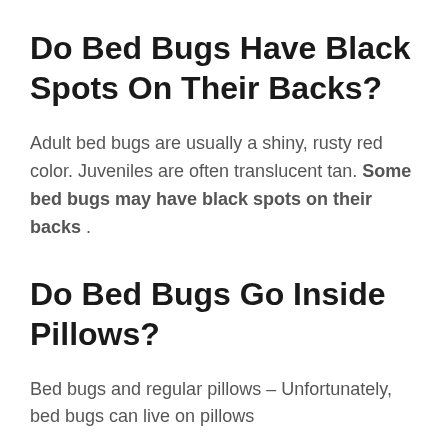Do Bed Bugs Have Black Spots On Their Backs?
Adult bed bugs are usually a shiny, rusty red color. Juveniles are often translucent tan. Some bed bugs may have black spots on their backs .
Do Bed Bugs Go Inside Pillows?
Bed bugs and regular pillows – Unfortunately, bed bugs can live on pillows